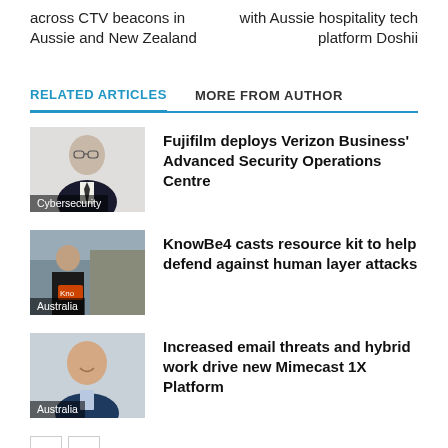across CTV beacons in Aussie and New Zealand
with Aussie hospitality tech platform Doshii
RELATED ARTICLES
MORE FROM AUTHOR
[Figure (photo): Portrait of a man in glasses and suit, category label: Cybersecurity]
Fujifilm deploys Verizon Business' Advanced Security Operations Centre
[Figure (photo): Person standing in an office/lobby setting, category label: Australia]
KnowBe4 casts resource kit to help defend against human layer attacks
[Figure (photo): Portrait of a man smiling, category label: Australia]
Increased email threats and hybrid work drive new Mimecast 1X Platform